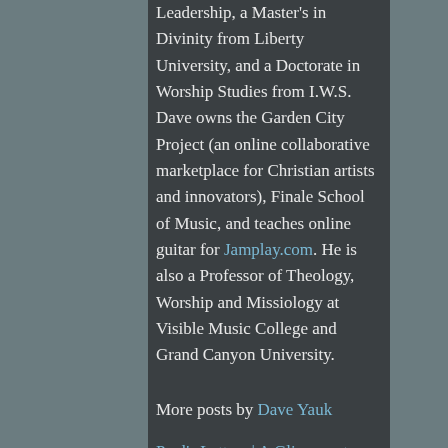Leadership, a Master's in Divinity from Liberty University, and a Doctorate in Worship Studies from I.W.S. Dave owns the Garden City Project (an online collaborative marketplace for Christian artists and innovators), Finale School of Music, and teaches online guitar for Jamplay.com. He is also a Professor of Theology, Worship and Missiology at Visible Music College and Grand Canyon University.
More posts by Dave Yauk
Paul's Letters | A Glimpse at a Course on Community VODCAST 4K IDENTITY IN